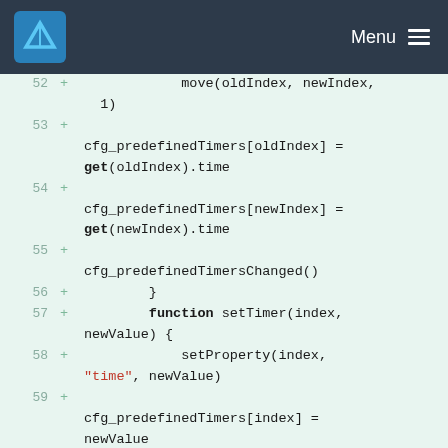KDE Menu
[Figure (screenshot): Code diff view showing lines 52-60 of a QML/JavaScript file with added lines (+) showing timer manipulation functions including move, cfg_predefinedTimers assignments, function setTimer, setProperty, and cfg_predefinedTimersChanged calls.]